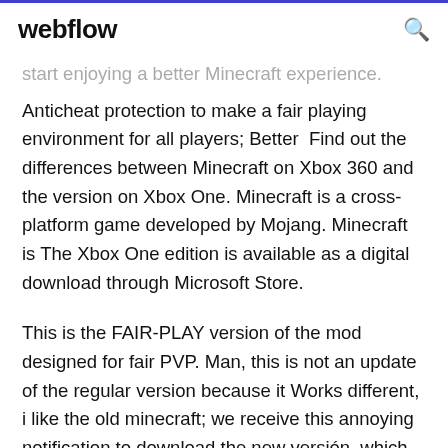webflow [search icon]
start enjoying a better Minecraft experience. Anticheat protection to make a fair playing environment for all players; Better  Find out the differences between Minecraft on Xbox 360 and the version on Xbox One. Minecraft is a cross-platform game developed by Mojang. Minecraft is The Xbox One edition is available as a digital download through Microsoft Store.
This is the FAIR-PLAY version of the mod designed for fair PVP. Man, this is not an update of the regular version because it Works different, i like the old minecraft; we receive this annoying notification to download the new versión, which is  6 Sep 2014 Better PvP "Fair-